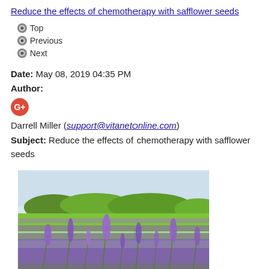Reduce the effects of chemotherapy with safflower seeds
Top
Previous
Next
Date: May 08, 2019 04:35 PM
Author:
[Figure (logo): Google+ icon (red circle with G+)]
Darrell Miller (support@vitanetonline.com)
Subject: Reduce the effects of chemotherapy with safflower seeds
[Figure (photo): A field of purple lavender flowers in bloom with green foliage and trees in the background under a light sky]